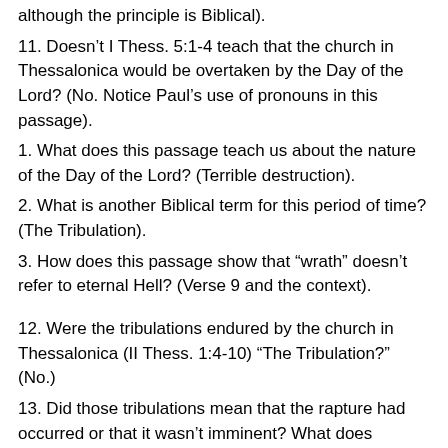although the principle is Biblical).
11. Doesn’t I Thess. 5:1-4 teach that the church in Thessalonica would be overtaken by the Day of the Lord? (No. Notice Paul’s use of pronouns in this passage).
1. What does this passage teach us about the nature of the Day of the Lord? (Terrible destruction).
2. What is another Biblical term for this period of time? (The Tribulation).
3. How does this passage show that “wrath” doesn’t refer to eternal Hell? (Verse 9 and the context).
12. Were the tribulations endured by the church in Thessalonica (II Thess. 1:4-10) “The Tribulation?” (No.)
13. Did those tribulations mean that the rapture had occurred or that it wasn’t imminent? What does Matthew 24:42 teach us to do? (Watch for the coming of the Lord).